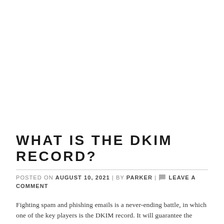WHAT IS THE DKIM RECORD?
POSTED ON AUGUST 10, 2021 | BY PARKER | LEAVE A COMMENT
Fighting spam and phishing emails is a never-ending battle, in which one of the key players is the DKIM record. It will guarantee the